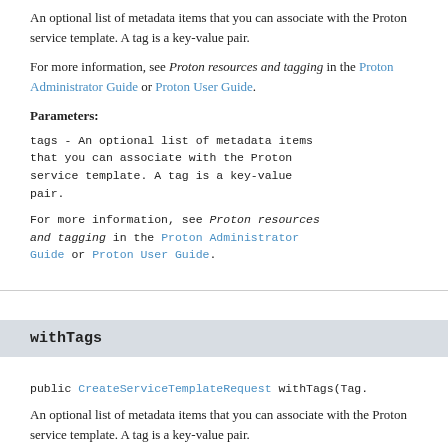An optional list of metadata items that you can associate with the Proton service template. A tag is a key-value pair.
For more information, see Proton resources and tagging in the Proton Administrator Guide or Proton User Guide.
Parameters:
tags - An optional list of metadata items that you can associate with the Proton service template. A tag is a key-value pair.
For more information, see Proton resources and tagging in the Proton Administrator Guide or Proton User Guide.
withTags
public CreateServiceTemplateRequest withTags(Tag.
An optional list of metadata items that you can associate with the Proton service template. A tag is a key-value pair.